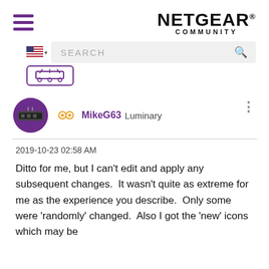[Figure (logo): NETGEAR COMMUNITY logo with hamburger menu icon]
[Figure (screenshot): Search bar with US flag and search icon]
[Figure (screenshot): Router button icon (partially visible)]
MikeG63 Luminary
2019-10-23 02:58 AM
Ditto for me, but I can't edit and apply any subsequent changes.  It wasn't quite as extreme for me as the experience you describe.  Only some were 'randomly' changed.  Also I got the 'new' icons which may be